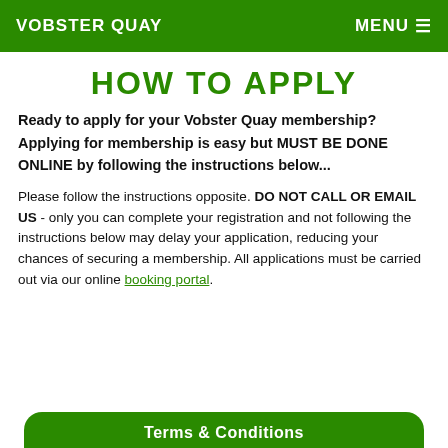VOBSTER QUAY    MENU ☰
HOW TO APPLY
Ready to apply for your Vobster Quay membership? Applying for membership is easy but MUST BE DONE ONLINE by following the instructions below...
Please follow the instructions opposite. DO NOT CALL OR EMAIL US - only you can complete your registration and not following the instructions below may delay your application, reducing your chances of securing a membership. All applications must be carried out via our online booking portal.
Terms & Conditions